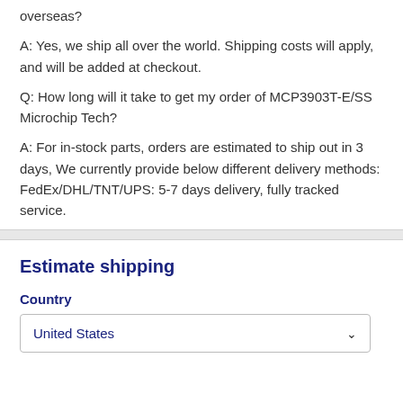overseas?
A: Yes, we ship all over the world. Shipping costs will apply, and will be added at checkout.
Q: How long will it take to get my order of MCP3903T-E/SS Microchip Tech?
A: For in-stock parts, orders are estimated to ship out in 3 days, We currently provide below different delivery methods: FedEx/DHL/TNT/UPS: 5-7 days delivery, fully tracked service.
Estimate shipping
Country
United States